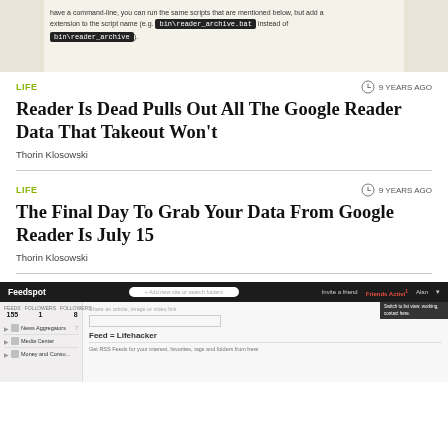[Figure (screenshot): Screenshot of a command-line terminal showing a script with bin/reader_archive.bat and bin/reader_archive text]
LIFE
9 YEARS AGO
Reader Is Dead Pulls Out All The Google Reader Data That Takeout Won't
Thorin Klosowski
LIFE
9 YEARS AGO
The Final Day To Grab Your Data From Google Reader Is July 15
Thorin Klosowski
[Figure (screenshot): Screenshot of Feedspot web application showing feed reader interface with Lifehacker feed]